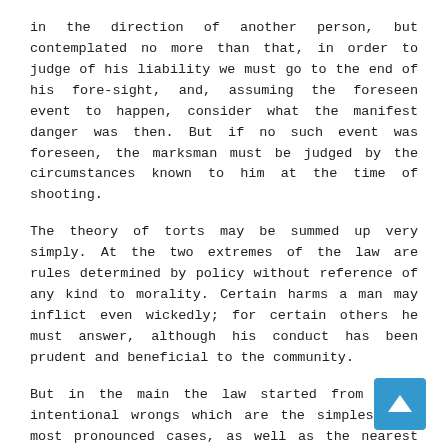in the direction of another person, but contemplated no more than that, in order to judge of his liability we must go to the end of his fore-sight, and, assuming the foreseen event to happen, consider what the manifest danger was then. But if no such event was foreseen, the marksman must be judged by the circumstances known to him at the time of shooting.
The theory of torts may be summed up very simply. At the two extremes of the law are rules determined by policy without reference of any kind to morality. Certain harms a man may inflict even wickedly; for certain others he must answer, although his conduct has been prudent and beneficial to the community.
But in the main the law started from those intentional wrongs which are the simplest and most pronounced cases, as well as the nearest to the feeling of revenge which leads to self-redress. It thus naturally adopted the vocabulary, and in some degree the tests, of morals. But as the law has grown, even when its standards have continued to model themselves upon those of morality, they have necessarily become external, because they have considered, not the actual condition of the particular defendant, but whether his conduct would have been wrong in the